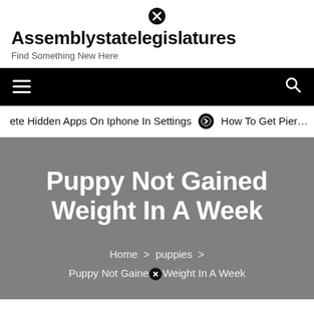Assemblystatelegislatures — Find Something New Here
Navigation bar with hamburger menu and search icon
ete Hidden Apps On Iphone In Settings ➔ How To Get Pier…
Puppy Not Gained Weight In A Week
Home › puppies › Puppy Not Gained Weight In A Week